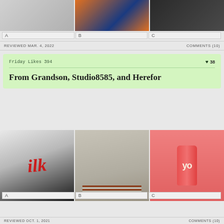[Figure (photo): Three images side by side: A (design/print), B (orange and blue product), C (dark packaging)]
A    B    C
REVIEWED MAR. 4, 2022    COMMENTS (10)
Friday Likes 394   ♥ 38
From Grandson, Studio8585, and Herefor
[Figure (photo): Three images: A (ilk logo on white fabric), B (stacked embossed books/notebooks), C (pink strawberry beverage can labeled 'yo')]
A    B    C
REVIEWED OCT. 1, 2021    COMMENTS (10)